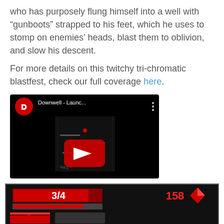who has purposely flung himself into a well with "gunboots" strapped to his feet, which he uses to stomp on enemies' heads, blast them to oblivion, and slow his descent.
For more details on this twitchy tri-chromatic blastfest, check our full coverage here.
[Figure (screenshot): Embedded YouTube video thumbnail showing Downwell - Launc... with the YouTube play button overlay on a black background with game footage visible]
[Figure (screenshot): Game screenshot of Downwell showing HUD with 3/4 health, score 158, and pixelated black-red-white game visuals]